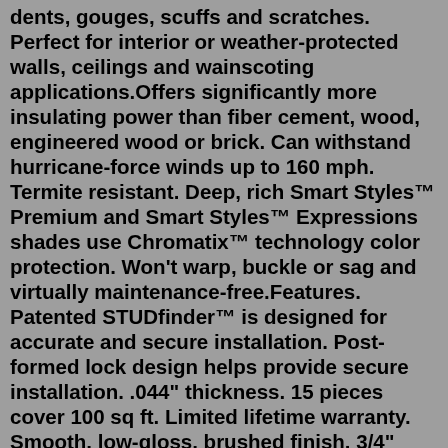dents, gouges, scuffs and scratches. Perfect for interior or weather-protected walls, ceilings and wainscoting applications.Offers significantly more insulating power than fiber cement, wood, engineered wood or brick. Can withstand hurricane-force winds up to 160 mph. Termite resistant. Deep, rich Smart Styles™ Premium and Smart Styles™ Expressions shades use Chromatix™ technology color protection. Won't warp, buckle or sag and virtually maintenance-free.Features. Patented STUDfinder™ is designed for accurate and secure installation. Post-formed lock design helps provide secure installation. .044" thickness. 15 pieces cover 100 sq ft. Limited lifetime warranty. Smooth, low-gloss, brushed finish. 3/4" projection. Class 1 (A) fire rating.Traditional and modern styles of exterior siding panels include Dutch lap, shake, board and batten, and scallop. Some styles even give you a seamless wood or stone look at a fraction of the cost. When choosing a product, you'll want to consider the length and width of your siding panels, as well as their thickness and insulation